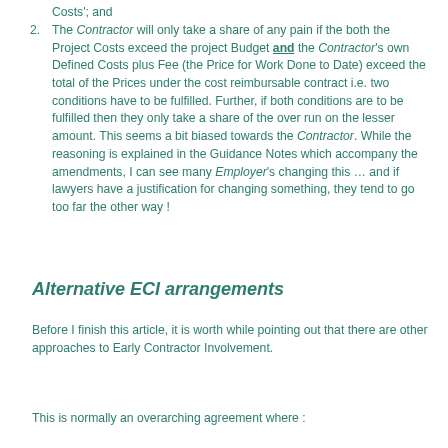Costs'; and
2. The Contractor will only take a share of any pain if the both the Project Costs exceed the project Budget and the Contractor's own Defined Costs plus Fee (the Price for Work Done to Date) exceed the total of the Prices under the cost reimbursable contract i.e. two conditions have to be fulfilled. Further, if both conditions are to be fulfilled then they only take a share of the over run on the lesser amount. This seems a bit biased towards the Contractor. While the reasoning is explained in the Guidance Notes which accompany the amendments, I can see many Employer's changing this … and if lawyers have a justification for changing something, they tend to go too far the other way !
Alternative ECI arrangements
Before I finish this article, it is worth while pointing out that there are other approaches to Early Contractor Involvement.
This is normally an overarching agreement where :